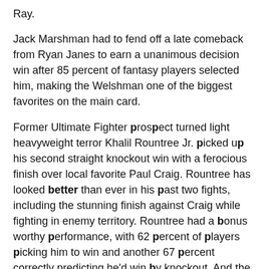Ray.
Jack Marshman had to fend off a late comeback from Ryan Janes to earn a unanimous decision win after 85 percent of fantasy players selected him, making the Welshman one of the biggest favorites on the main card.
Former Ultimate Fighter prospect turned light heavyweight terror Khalil Rountree Jr. picked up his second straight knockout win with a ferocious finish over local favorite Paul Craig. Rountree has looked better than ever in his past two fights, including the stunning finish against Craig while fighting in enemy territory. Rountree had a bonus worthy performance, with 62 percent of players picking him to win and another 67 percent correctly predicting he'd win by knockout. And the win earned another 120 points